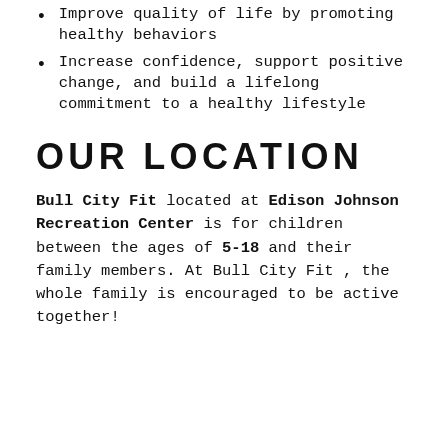Improve quality of life by promoting healthy behaviors
Increase confidence, support positive change, and build a lifelong commitment to a healthy lifestyle
OUR LOCATION
Bull City Fit located at Edison Johnson Recreation Center is for children between the ages of 5-18 and their family members. At Bull City Fit , the whole family is encouraged to be active together!